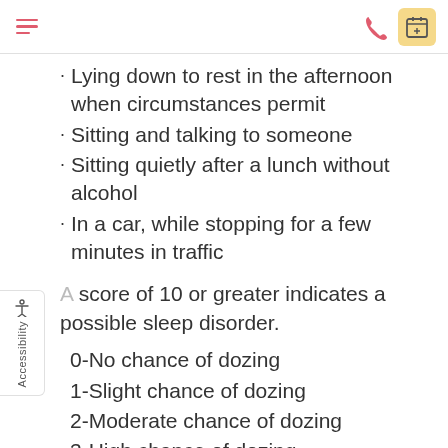Navigation header with hamburger menu, phone icon, and calendar button
Lying down to rest in the afternoon when circumstances permit
Sitting and talking to someone
Sitting quietly after a lunch without alcohol
In a car, while stopping for a few minutes in traffic
A score of 10 or greater indicates a possible sleep disorder.
0-No chance of dozing
1-Slight chance of dozing
2-Moderate chance of dozing
3-High chance of dozing